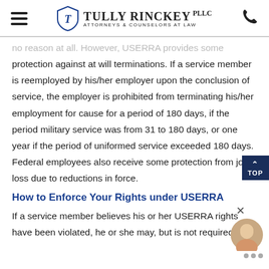Tully Rinckey PLLC — Attorneys & Counselors at Law
no reason at all. However, USERRA provides some protection against at will terminations. If a service member is reemployed by his/her employer upon the conclusion of service, the employer is prohibited from terminating his/her employment for cause for a period of 180 days, if the period military service was from 31 to 180 days, or one year if the period of uniformed service exceeded 180 days. Federal employees also receive some protection from job loss due to reductions in force.
How to Enforce Your Rights under USERRA
If a service member believes his or her USERRA rights have been violated, he or she may, but is not required to,